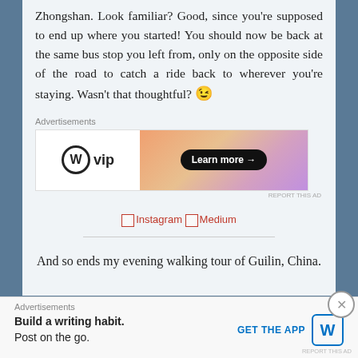Zhongshan. Look familiar? Good, since you're supposed to end up where you started! You should now be back at the same bus stop you left from, only on the opposite side of the road to catch a ride back to wherever you're staying. Wasn't that thoughtful? 😉
[Figure (screenshot): Advertisement banner for WordPress VIP with 'Learn more →' button on an orange/pink gradient background]
[Figure (screenshot): Social media links: Instagram and Medium icons]
And so ends my evening walking tour of Guilin, China.
[Figure (screenshot): Bottom advertisement: 'Build a writing habit. Post on the go.' with GET THE APP button and WordPress logo]